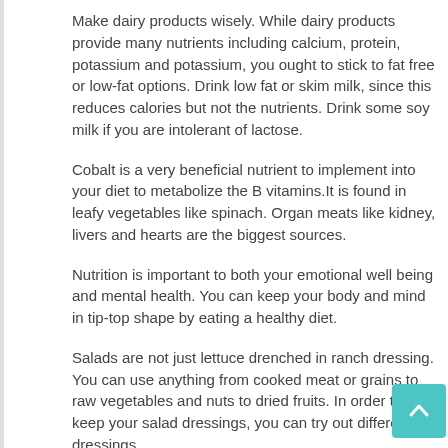Make dairy products wisely. While dairy products provide many nutrients including calcium, protein, potassium and potassium, you ought to stick to fat free or low-fat options. Drink low fat or skim milk, since this reduces calories but not the nutrients. Drink some soy milk if you are intolerant of lactose.
Cobalt is a very beneficial nutrient to implement into your diet to metabolize the B vitamins.It is found in leafy vegetables like spinach. Organ meats like kidney, livers and hearts are the biggest sources.
Nutrition is important to both your emotional well being and mental health. You can keep your body and mind in tip-top shape by eating a healthy diet.
Salads are not just lettuce drenched in ranch dressing. You can use anything from cooked meat or grains to raw vegetables and nuts to dried fruits. In order to keep your salad dressings, you can try out different dressings.
Salads are not just lettuce drenched in ranch dressing. You can put anything from meats and nuts to dried fruits.You can really add some variety to your salad ideas fresh.